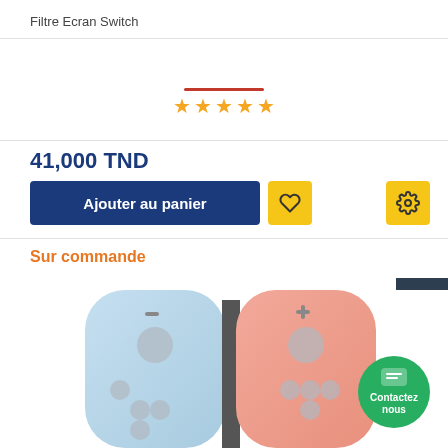Filtre Ecran Switch
[Figure (other): Five orange star rating with red underline bar above the stars]
41,000 TND
Ajouter au panier
Sur commande
[Figure (photo): Nintendo Switch Joy-Con controllers (light blue on left, salmon/pink on right) attached to central unit, viewed close up from front]
Contactez nous